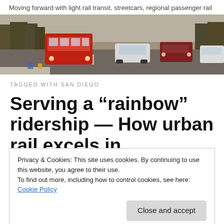Moving forward with light rail transit, streetcars, regional passenger rail
[Figure (photo): Street scene with a red streetcar/light rail vehicle in urban setting with cars and trees lining the road]
TAGGED WITH SAN DIEGO
Serving a “rainbow” ridership — How urban rail excels in
Privacy & Cookies: This site uses cookies. By continuing to use this website, you agree to their use.
To find out more, including how to control cookies, see here: Cookie Policy
Close and accept